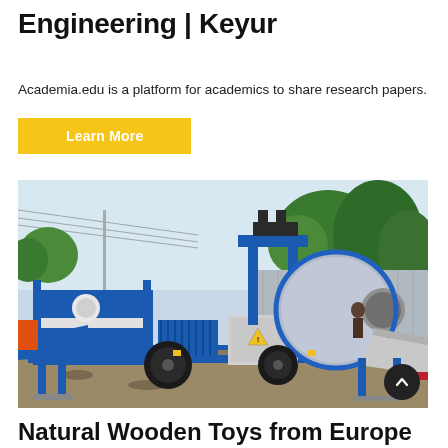Engineering | Keyur
Academia.edu is a platform for academics to share research papers.
Learn More
[Figure (photo): A blue concrete mixer/pump truck on a construction site, with a large cylindrical drum and blue metal framework, parked on gravel with trees and a corrugated fence in the background.]
Natural Wooden Toys from Europe